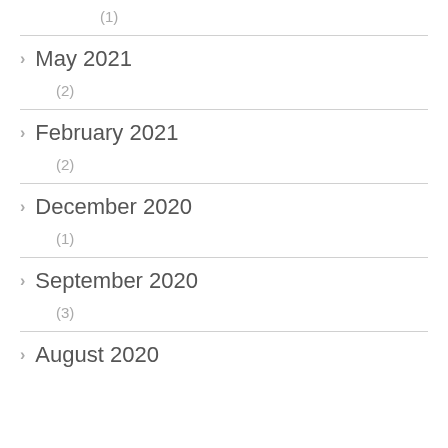(1)
May 2021
(2)
February 2021
(2)
December 2020
(1)
September 2020
(3)
August 2020